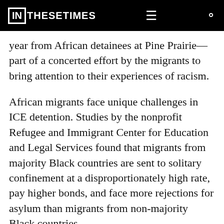IN THESE TIMES
year from African detainees at Pine Prairie—part of a concerted effort by the migrants to bring attention to their experiences of racism.
African migrants face unique challenges in ICE detention. Studies by the nonprofit Refugee and Immigrant Center for Education and Legal Services found that migrants from majority Black countries are sent to solitary confinement at a disproportionately high rate, pay higher bonds, and face more rejections for asylum than migrants from non-majority Black countries.
The African men at Pine Prairie have alleged in a complaint filed by the Southern Poverty Law